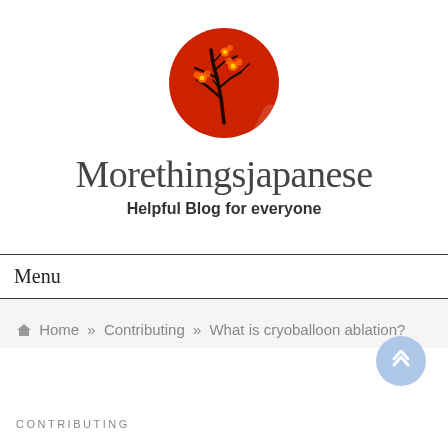[Figure (logo): Circular red logo with a bare tree branch and small yellow flowers on red background — Morethingsjapanese blog logo]
Morethingsjapanese
Helpful Blog for everyone
Menu
Home » Contributing » What is cryoballoon ablation?
CONTRIBUTING